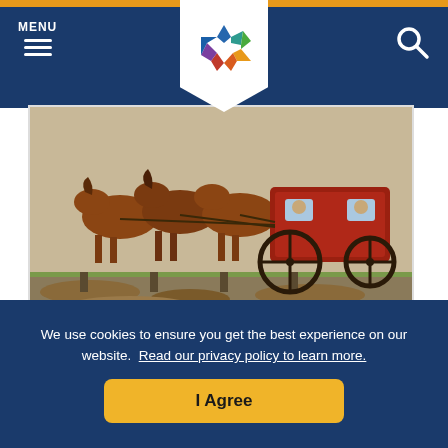MENU
[Figure (photo): Mural photograph of a stagecoach pulled by horses, the 1894 Stagecoach Mural in Gate, Oklahoma]
1894 Stagecoach Mural
Crescent Oklahoma & Branch Main Gate, OK 73844
In Gate, Oklahoma, volunteer artists like
We use cookies to ensure you get the best experience on our website. Read our privacy policy to learn more.
I Agree